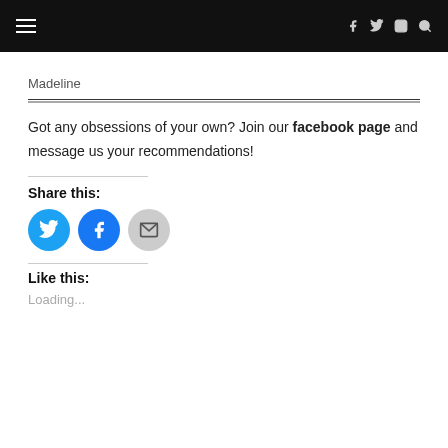Navigation bar with hamburger menu and social icons (Facebook, Twitter, Instagram, Search)
Madeline
Got any obsessions of your own? Join our facebook page and message us your recommendations!
Share this:
[Figure (other): Three circular social share buttons: Twitter (blue), Facebook (blue), Email (grey)]
Like this:
Loading...